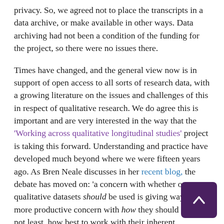privacy. So, we agreed not to place the transcripts in a data archive, or make available in other ways. Data archiving had not been a condition of the funding for the project, so there were no issues there.
Times have changed, and the general view now is in support of open access to all sorts of research data, with a growing literature on the issues and challenges of this in respect of qualitative research. We do agree this is important and are very interested in the way that the 'Working across qualitative longitudinal studies' project is taking this forward. Understanding and practice have developed much beyond where we were fifteen years ago. As Bren Neale discusses in her recent blog, the debate has moved on: 'a concern with whether or not qualitative datasets should be used is giving way to a more productive concern with how they should be used, not least, how best to work with their inherent temporality'.